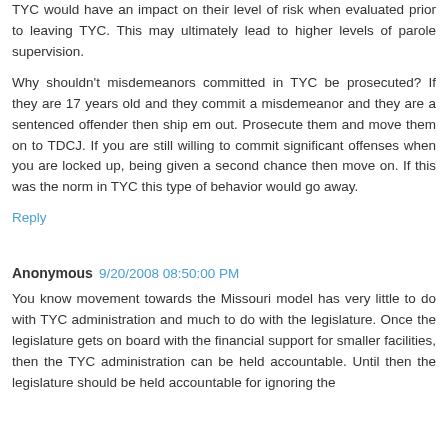TYC would have an impact on their level of risk when evaluated prior to leaving TYC. This may ultimately lead to higher levels of parole supervision.
Why shouldn't misdemeanors committed in TYC be prosecuted? If they are 17 years old and they commit a misdemeanor and they are a sentenced offender then ship em out. Prosecute them and move them on to TDCJ. If you are still willing to commit significant offenses when you are locked up, being given a second chance then move on. If this was the norm in TYC this type of behavior would go away.
Reply
Anonymous 9/20/2008 08:50:00 PM
You know movement towards the Missouri model has very little to do with TYC administration and much to do with the legislature. Once the legislature gets on board with the financial support for smaller facilities, then the TYC administration can be held accountable. Until then the legislature should be held accountable for ignoring the